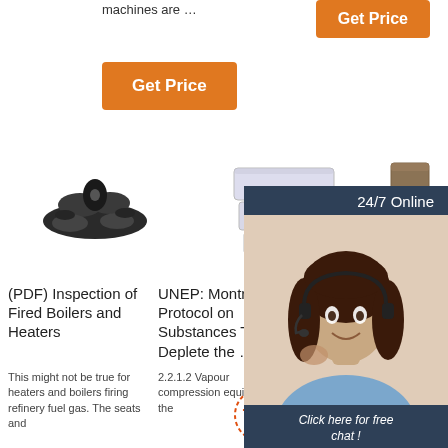machines are …
[Figure (other): Orange Get Price button (top right)]
[Figure (other): Orange Get Price button (left)]
[Figure (photo): Product image: black rubber parts/seals]
[Figure (photo): Product image: white rectangular blocks]
[Figure (photo): Product image: brown flat piece, partially covered by chat widget]
[Figure (infographic): 24/7 Online chat widget with woman wearing headset, 'Click here for free chat!' text and QUOTATION button]
(PDF) Inspection of Fired Boilers and Heaters
This might not be true for heaters and boilers firing refinery fuel gas. The seats and
UNEP: Montreal Protocol on Substances That Deplete the …
2.2.1.2 Vapour compression equipment In the
Char herald Home
2017-2-24u2002·u2002Our Town Page 1 E/N/C www.yoursun.com The Sun Friday,